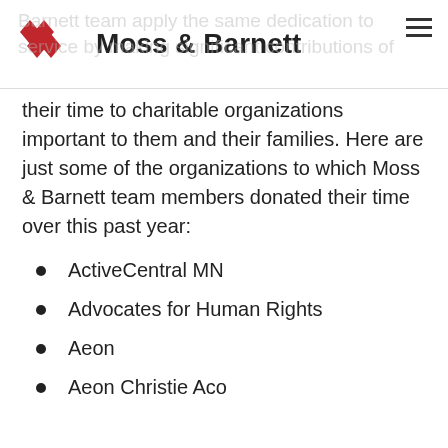Moss & Barnett
their time to charitable organizations important to them and their families. Here are just some of the organizations to which Moss & Barnett team members donated their time over this past year:
ActiveCentral MN
Advocates for Human Rights
Aeon
Aeon Christie Aco...